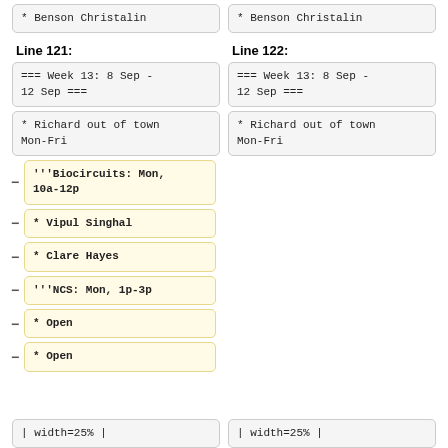* Benson Christalin (left column)
* Benson Christalin (right column)
Line 121:
Line 122:
=== Week 13: 8 Sep - 12 Sep === (left)
=== Week 13: 8 Sep - 12 Sep === (right)
* Richard out of town Mon-Fri (left)
* Richard out of town Mon-Fri (right)
'''Biocircuits: Mon, 10a-12p
* Vipul Singhal
* Clare Hayes
'''NCS: Mon, 1p-3p
* Open
* Open
| width=25% | (left)
| width=25% | (right)